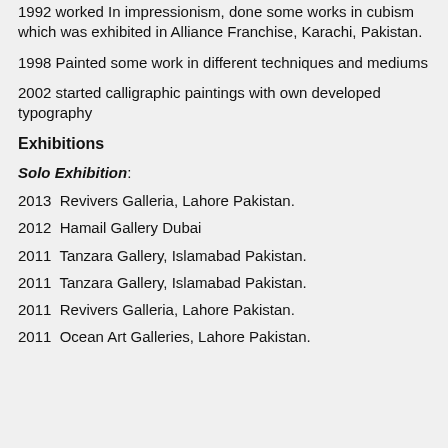1992 worked In impressionism, done some works in cubism which was exhibited in Alliance Franchise, Karachi, Pakistan.
1998 Painted some work in different techniques and mediums
2002 started calligraphic paintings with own developed typography
Exhibitions
Solo Exhibition:
2013  Revivers Galleria, Lahore Pakistan.
2012  Hamail Gallery Dubai
2011  Tanzara Gallery, Islamabad Pakistan.
2011  Tanzara Gallery, Islamabad Pakistan.
2011  Revivers Galleria, Lahore Pakistan.
2011  Ocean Art Galleries, Lahore Pakistan.